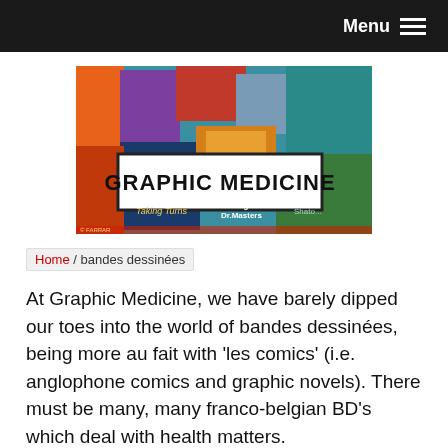Menu
[Figure (illustration): Graphic Medicine website banner showing a collage of colorful comic book covers and graphic novels with a central white box containing the text GRAPHIC MEDICINE in bold hand-lettered style]
Home / bandes dessinées
At Graphic Medicine, we have barely dipped our toes into the world of bandes dessinées, being more au fait with 'les comics' (i.e. anglophone comics and graphic novels). There must be many, many franco-belgian BD's which deal with health matters.